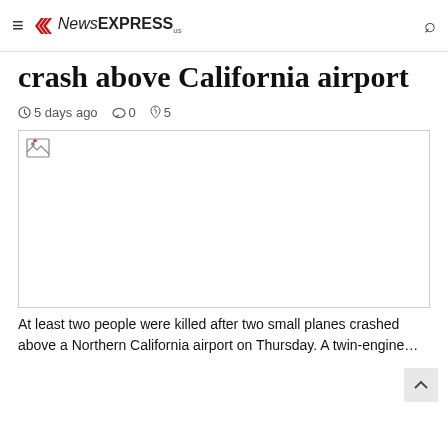NewsEXPRESS us
At least 2 dead after 2 planes crash above California airport
crash above California airport
5 days ago  0  5
[Figure (photo): Broken/unloaded image placeholder for article photo]
At least two people were killed after two small planes crashed above a Northern California airport on Thursday. A twin-engine…